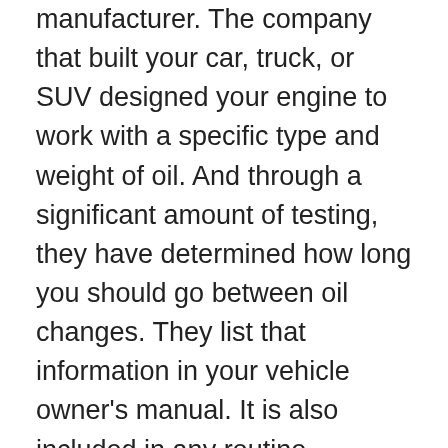manufacturer. The company that built your car, truck, or SUV designed your engine to work with a specific type and weight of oil. And through a significant amount of testing, they have determined how long you should go between oil changes. They list that information in your vehicle owner's manual. It is also included in any routine maintenance schedule that may have come with your car. When should you change your oil? When the manufacturer tells you to.
So, how often might that be? Most manufacturers recommend changing your oil and oil filter somewhere around 7.5K